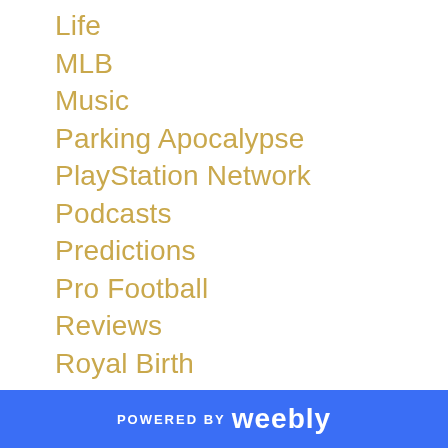Life
MLB
Music
Parking Apocalypse
PlayStation Network
Podcasts
Predictions
Pro Football
Reviews
Royal Birth
Russia
Shopping Carts
Soda Bottles
Sports Media
Stan Musial
Strat-o-matic Hockey
POWERED BY weebly